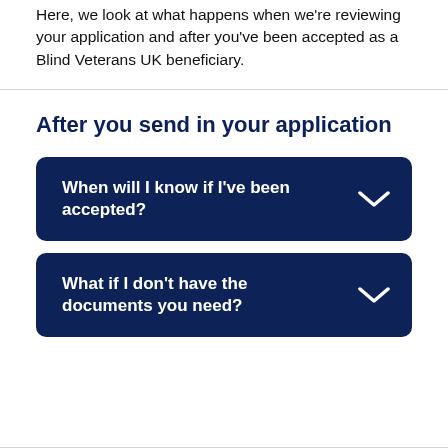Here, we look at what happens when we're reviewing your application and after you've been accepted as a Blind Veterans UK beneficiary.
After you send in your application
When will I know if I've been accepted?
What if I don't have the documents you need?